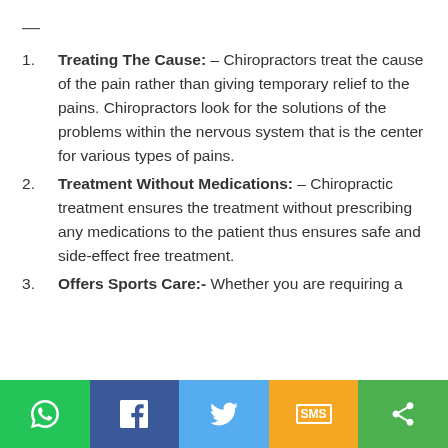Treating The Cause: – Chiropractors treat the cause of the pain rather than giving temporary relief to the pains. Chiropractors look for the solutions of the problems within the nervous system that is the center for various types of pains.
Treatment Without Medications: – Chiropractic treatment ensures the treatment without prescribing any medications to the patient thus ensures safe and side-effect free treatment.
Offers Sports Care:- Whether you are requiring a treatment for…